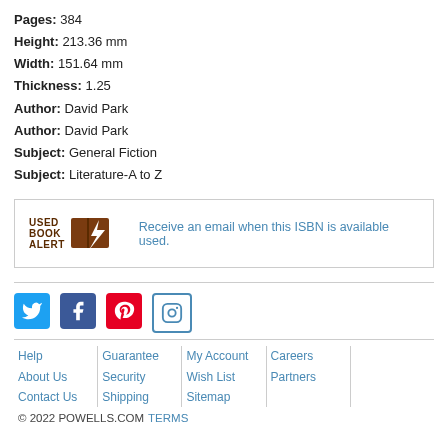Pages: 384
Height: 213.36 mm
Width: 151.64 mm
Thickness: 1.25
Author: David Park
Author: David Park
Subject: General Fiction
Subject: Literature-A to Z
[Figure (infographic): Used Book Alert box with logo and text: Receive an email when this ISBN is available used.]
[Figure (infographic): Social media icons: Twitter, Facebook, Pinterest, Instagram]
Help | About Us | Contact Us | Guarantee | Security | Shipping | My Account | Wish List | Sitemap | Careers | Partners | © 2022 POWELLS.COM TERMS